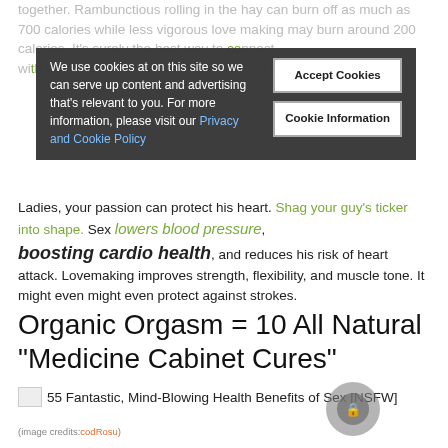together. Rambunctious rolling in the hay can burn off as much as 700 calories while less vigorous love making may burn around 200 calories. It's surely the best way to connect with your partner and it's definitely the best way to burn calories.
We use cookies at on this site so we can serve up content and advertising that's relevant to you. For more information, please visit our Privacy and Cookie Policy
Accept Cookies | Cookie Information
Ladies, your passion can protect his heart. Shag your guy's ticker into shape. Sex lowers blood pressure, boosting cardio health, and reduces his risk of heart attack. Lovemaking improves strength, flexibility, and muscle tone. It might even might even protect against strokes.
Organic Orgasm = 10 All Natural “Medicine Cabinet Cures”
[Figure (photo): Image icon for '55 Fantastic, Mind-Blowing Health Benefits of Sex [NSFW]']
55 Fantastic, Mind-Blowing Health Benefits of Sex [NSFW]
(image credits:codRosu)